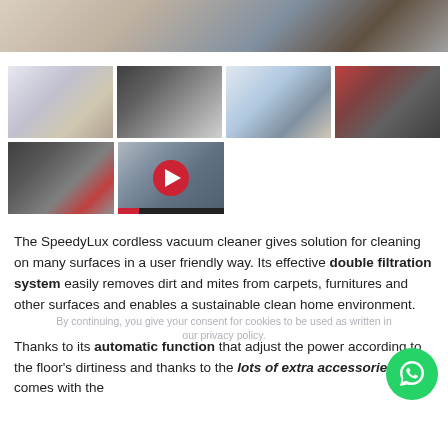[Figure (photo): Main hero image of vacuum cleaner on floor, partial view at top of page]
[Figure (photo): Thumbnail: vacuum cleaner in room with refrigerator]
[Figure (photo): Thumbnail: vacuum cleaner head on floor from above]
[Figure (photo): Thumbnail: handheld vacuum on couch/furniture]
[Figure (photo): Thumbnail: red and black vacuum cleaner detail/close-up]
[Figure (photo): Thumbnail: black and red vacuum cleaner component close-up]
[Figure (photo): Thumbnail: video thumbnail with red play button]
The SpeedyLux cordless vacuum cleaner gives solution for cleaning on many surfaces in a user friendly way. Its effective double filtration system easily removes dirt and mites from carpets, furnitures and other surfaces and enables a sustainable clean home environment.
Thanks to its automatic function that adjust the power according to the floor's dirtiness and thanks to the lots of extra accessories that comes with the